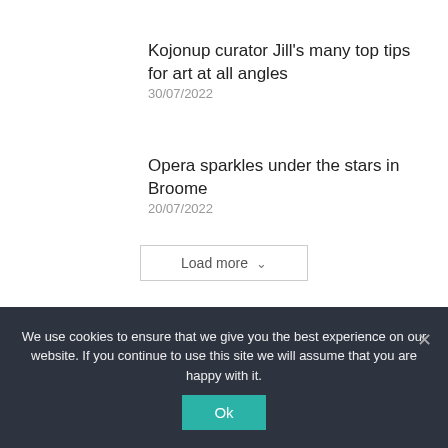Kojonup curator Jill's many top tips for art at all angles
30/07/2022
Opera sparkles under the stars in Broome
20/07/2022
Load more
We use cookies to ensure that we give you the best experience on our website. If you continue to use this site we will assume that you are happy with it.
Ok